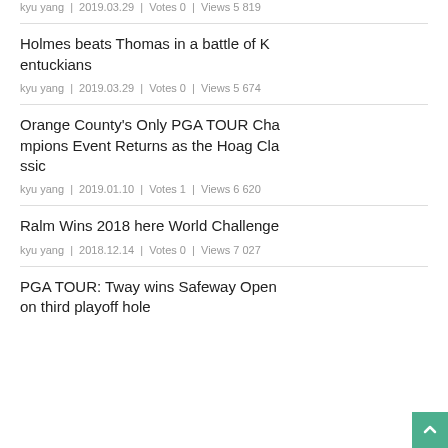kyu yang | 2019.03.29 | Votes 0 | Views 5 819
Holmes beats Thomas in a battle of Kentuckians
kyu yang | 2019.03.29 | Votes 0 | Views 5 674
Orange County's Only PGA TOUR Champions Event Returns as the Hoag Classic
kyu yang | 2019.01.10 | Votes 1 | Views 6 620
Ralm Wins 2018 here World Challenge
kyu yang | 2018.12.14 | Votes 0 | Views 7 027
PGA TOUR: Tway wins Safeway Open on third playoff hole